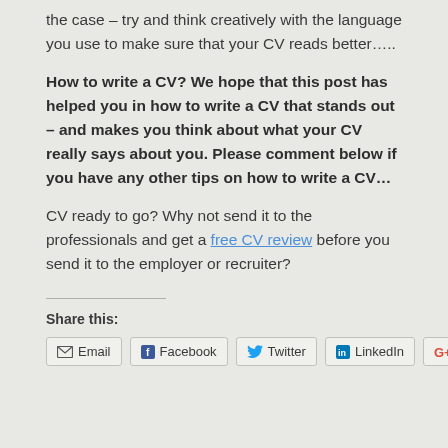the case – try and think creatively with the language you use to make sure that your CV reads better…..
How to write a CV? We hope that this post has helped you in how to write a CV that stands out – and makes you think about what your CV really says about you. Please comment below if you have any other tips on how to write a CV…
CV ready to go? Why not send it to the professionals and get a free CV review before you send it to the employer or recruiter?
Share this:
Email  Facebook  Twitter  LinkedIn  Google